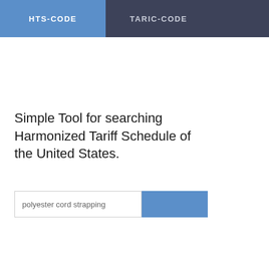HTS-CODE   TARIC-CODE
Simple Tool for searching Harmonized Tariff Schedule of the United States.
[Figure (screenshot): Search input field containing 'polyester cord strapping' with a blue search button to the right]